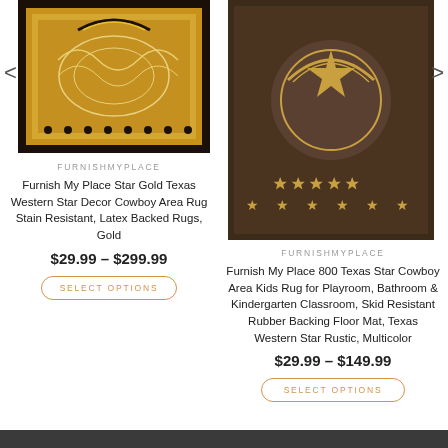[Figure (photo): Furnish My Place Star Gold Texas Western Star Decor Cowboy Area Rug - gold and black patterned rug with ornate floral border]
FURNISHMYPLACE
Furnish My Place Star Gold Texas Western Star Decor Cowboy Area Rug Stain Resistant, Latex Backed Rugs, Gold
$29.99 – $299.99
SELECT OPTIONS
[Figure (photo): Furnish My Place 800 Texas Star Cowboy Area Kids Rug - dark brown rug with star pattern and western motifs]
FURNISHMYPLACE
Furnish My Place 800 Texas Star Cowboy Area Kids Rug for Playroom, Bathroom & Kindergarten Classroom, Skid Resistant Rubber Backing Floor Mat, Texas Western Star Rustic, Multicolor
$29.99 – $149.99
SELECT OPTIONS